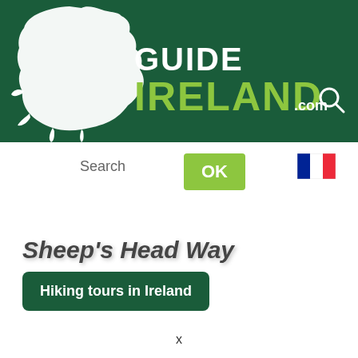[Figure (logo): GuideIreland.com logo with white Ireland map silhouette on dark green background, with white text GUIDE and lime green text IRELAND and .com]
[Figure (logo): French flag icon (tricolor: blue, white, red)]
Search
OK
Sheep's Head Way
Hiking tours in Ireland
x